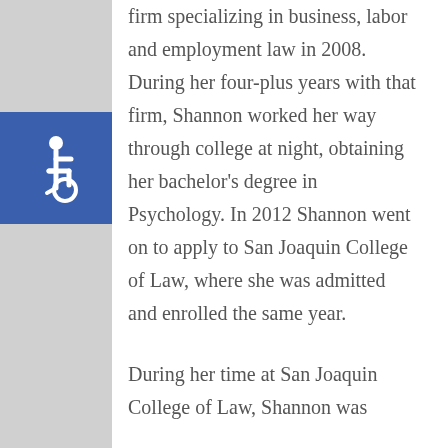[Figure (illustration): Blue square with white wheelchair accessibility icon (ISA symbol)]
firm specializing in business, labor and employment law in 2008. During her four-plus years with that firm, Shannon worked her way through college at night, obtaining her bachelor's degree in Psychology. In 2012 Shannon went on to apply to San Joaquin College of Law, where she was admitted and enrolled the same year.
During her time at San Joaquin College of Law, Shannon was